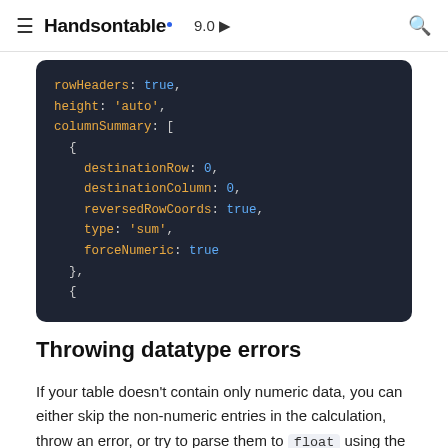Handsontable  9.0 ▶
[Figure (screenshot): Dark-themed code editor block showing JavaScript configuration object snippet with rowHeaders, height, columnSummary array containing destinationRow, destinationColumn, reversedRowCoords, type, forceNumeric properties]
Throwing datatype errors
If your table doesn't contain only numeric data, you can either skip the non-numeric entries in the calculation, throw an error, or try to parse them to float using the forceNumeric option. If you choose to throw the errors